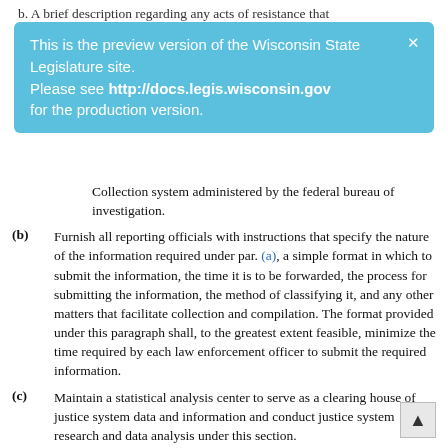b. A brief description regarding any acts of resistance that
This is the preview version of the Wisconsin State Legislature site. Please see http://docs.legis.wisconsin.gov for the production version.
Collection system administered by the federal bureau of investigation.
(b) Furnish all reporting officials with instructions that specify the nature of the information required under par. (a), a simple format in which to submit the information, the time it is to be forwarded, the process for submitting the information, the method of classifying it, and any other matters that facilitate collection and compilation. The format provided under this paragraph shall, to the greatest extent feasible, minimize the time required by each law enforcement officer to submit the required information.
(c) Maintain a statistical analysis center to serve as a clearing house of justice system data and information and conduct justice system research and data analysis under this section.
(d) Publish an annual report using the information collected under par. (a) 2. The report may be published electronically on the department of justice's Internet site in an interactive format and shall include, at a minimum, all information is reported to the department by local law enforcement